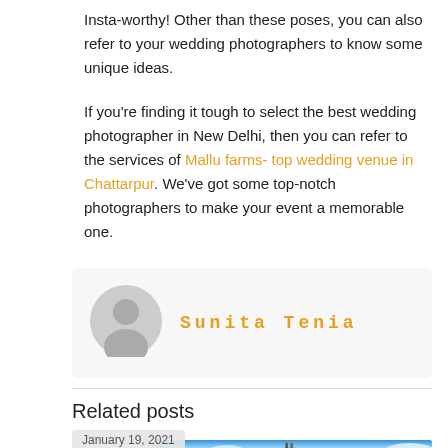Insta-worthy! Other than these poses, you can also refer to your wedding photographers to know some unique ideas.
If you're finding it tough to select the best wedding photographer in New Delhi, then you can refer to the services of Mallu farms- top wedding venue in Chattarpur. We've got some top-notch photographers to make your event a memorable one.
Sunita Tenia
Related posts
January 19, 2021
[Figure (photo): Two people with hats photographed from below against a bright blue sky with white clouds]